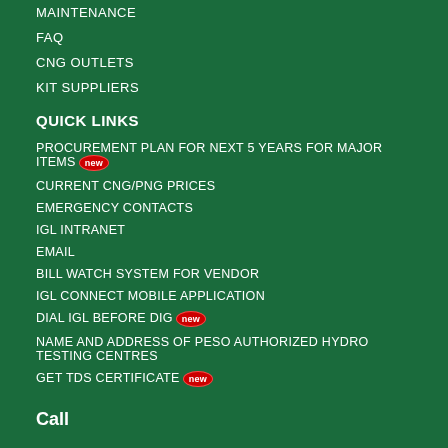MAINTENANCE
FAQ
CNG OUTLETS
KIT SUPPLIERS
QUICK LINKS
PROCUREMENT PLAN FOR NEXT 5 YEARS FOR MAJOR ITEMS [new]
CURRENT CNG/PNG PRICES
EMERGENCY CONTACTS
IGL INTRANET
EMAIL
BILL WATCH SYSTEM FOR VENDOR
IGL CONNECT MOBILE APPLICATION
DIAL IGL BEFORE DIG [new]
NAME AND ADDRESS OF PESO AUTHORIZED HYDRO TESTING CENTRES
GET TDS CERTIFICATE [new]
Call